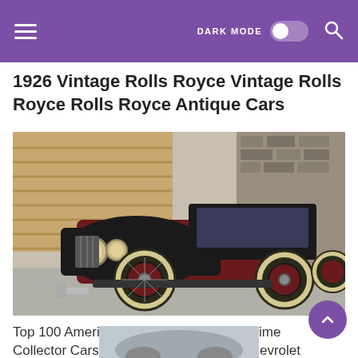DARK MODE [toggle] [search]
1926 Vintage Rolls Royce Vintage Rolls Royce Rolls Royce Antique Cars
[Figure (photo): A 1926 vintage Rolls Royce antique car, black and dark red/maroon, with whitewall tires and spoke wheels, parked in front of a stone and wood building.]
Top 100 American Collector Cars Of All Time Collector Cars Hot Rods Cars Muscle Chevrolet Bel Air
[Figure (photo): Partial view of another vintage car visible at the bottom of the page.]